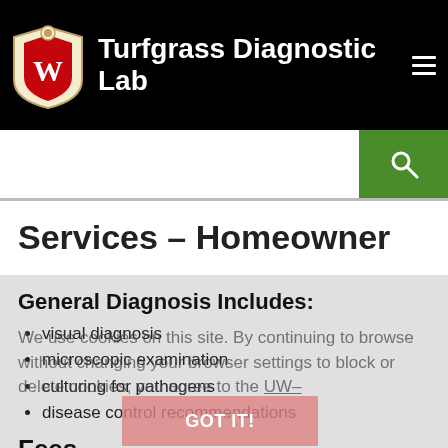Turfgrass Diagnostic Lab
Services – Homeowner
General Diagnosis Includes:
visual diagnosis
microscopic examination
culturing for pathogens
disease control recommendations
Fees
Homeowners: $30/sample
We use cookies on this site. By continuing to browse without changing your browser settings to block or delete cookies, you agree to the UW–Madison Privacy Notice.
GOT IT!